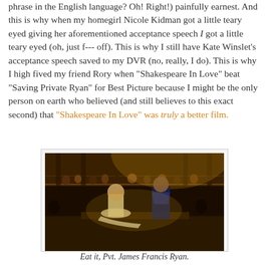phrase in the English language? Oh! Right!) painfully earnest. And this is why when my homegirl Nicole Kidman got a little teary eyed giving her aforementioned acceptance speech I got a little teary eyed (oh, just f--- off). This is why I still have Kate Winslet's acceptance speech saved to my DVR (no, really, I do). This is why I high fived my friend Rory when "Shakespeare In Love" beat "Saving Private Ryan" for Best Picture because I might be the only person on earth who believed (and still believes to this exact second) that "Shakespeare In Love" was truly a better film.
[Figure (photo): Scene from Shakespeare In Love showing two actors on a stage in period costume, with a crowded theatre audience visible in the background. Warm golden lighting.]
Eat it, Pvt. James Francis Ryan.